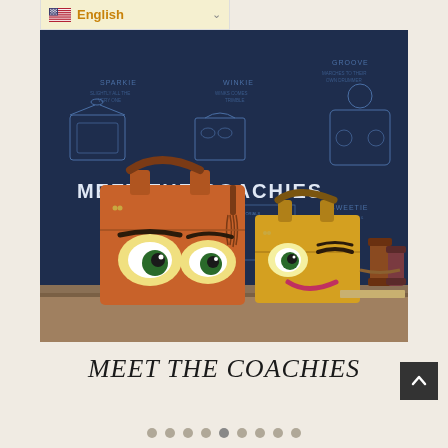[Figure (screenshot): Language selector bar showing US flag and 'English' text with dropdown chevron on a light yellow background]
[Figure (photo): Two novelty handbags with cartoon face designs — an orange bag with large eyes and a tassel, and a yellow bag with a winking face — placed on a wooden surface in front of a dark blue board with 'MEET THE COACHIES' text and bag blueprint drawings]
MEET THE COACHIES